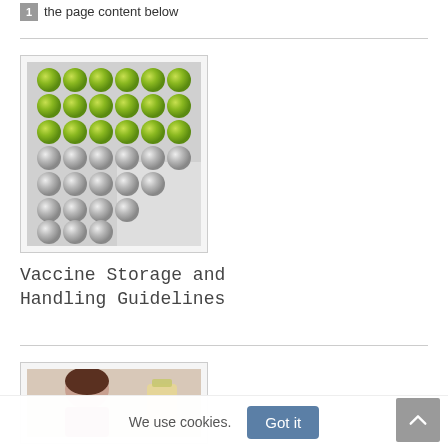the page content below
[Figure (photo): Rows of vaccine vials with silver and green caps arranged in a tray, viewed from above]
Vaccine Storage and Handling Guidelines
[Figure (photo): A woman looking down at something, partially visible, with a vial or medical item nearby]
We use cookies.
Got it